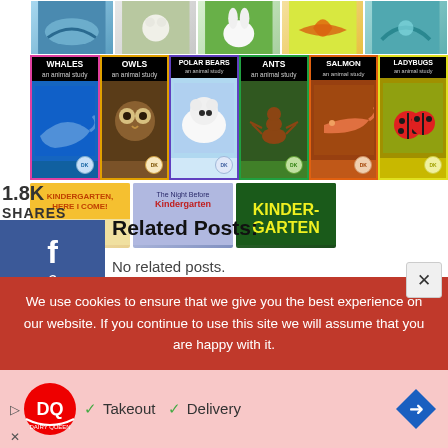[Figure (photo): Grid of animal study book covers including Whales, Owls, Polar Bears, Ants, Salmon, Ladybugs - top row shows animal photos, bottom row shows book covers with titles]
1.8K
SHARES
Related Posts:
No related posts.
Shop Now
[Figure (photo): Three kindergarten book covers: 'Kindergarten, Here I Come!', 'The Night Before Kindergarten', and 'Kindergarten']
We use cookies to ensure that we give you the best experience on our website. If you continue to use this site we will assume that you are happy with it.
[Figure (logo): Dairy Queen (DQ) advertisement banner with logo, Takeout and Delivery text, and arrow icon]